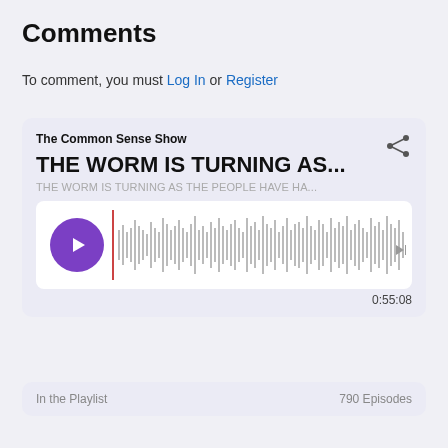Comments
To comment, you must Log In or Register
[Figure (screenshot): Podcast player card for 'The Common Sense Show' with episode title 'THE WORM IS TURNING AS...' and subtitle 'THE WORM IS TURNING AS THE PEOPLE HAVE HA...' with waveform audio player showing duration 0:55:08]
In the Playlist   790 Episodes